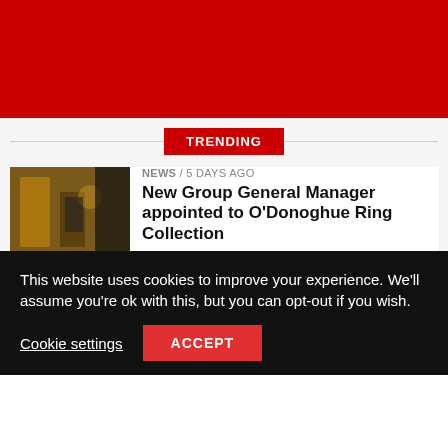[Figure (photo): Red website header banner]
TRENDING
[Figure (photo): Thumbnail of hotel interior with man in suit]
NEWS / 5 days ago
New Group General Manager appointed to O'Donoghue Ring Collection
[Figure (photo): Thumbnail of outdoor scene with police/emergency vehicles]
NEWS / 4 days ago
Killarney Gardai launch murder investigation
This website uses cookies to improve your experience. We'll assume you're ok with this, but you can opt-out if you wish.
Cookie settings
ACCEPT